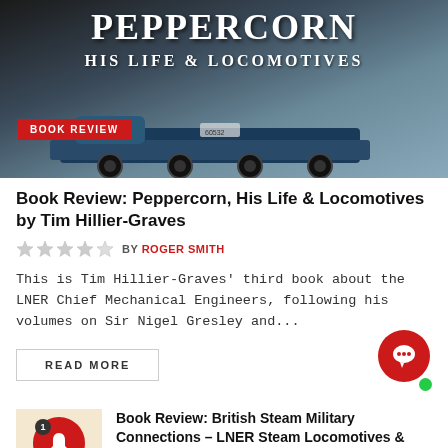[Figure (photo): Book cover image for 'Peppercorn: His Life & Locomotives' showing a steam locomotive against a dark background, with 'BOOK REVIEW' badge overlay]
Book Review: Peppercorn, His Life & Locomotives by Tim Hillier-Graves
BY ROGER SMITH
This is Tim Hillier-Graves' third book about the LNER Chief Mechanical Engineers, following his volumes on Sir Nigel Gresley and...
READ MORE
Book Review: British Steam Military Connections – LNER Steam Locomotives & Tornado by Keith Langston